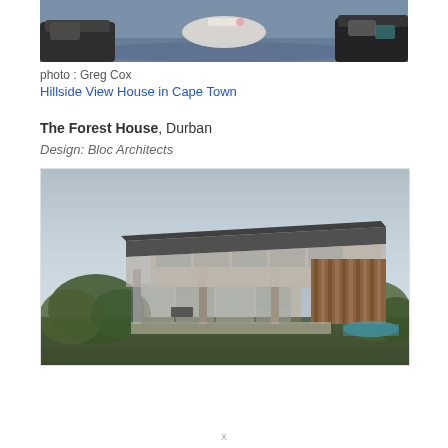[Figure (photo): Partial interior photo showing sofas, a round coffee table, and a blue/grey rug in a modern living room setting]
photo : Greg Cox
Hillside View House in Cape Town
The Forest House, Durban
Design: Bloc Architects
[Figure (photo): Exterior photograph of The Forest House in Durban, designed by Bloc Architects — a modern two-storey residence with a dramatic cantilevered flat roof, floor-to-ceiling glass walls, timber vertical cladding, concrete columns, and a pool visible at the far right, photographed at dusk with a pale blue-grey sky]
x